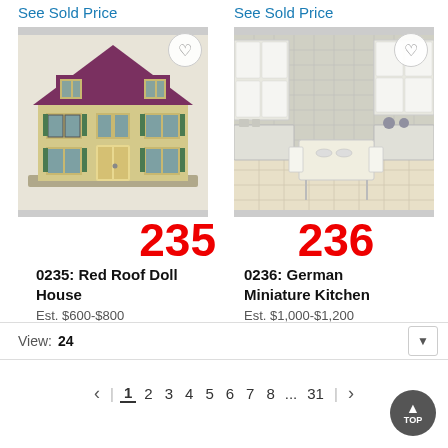See Sold Price
See Sold Price
[Figure (photo): Red roof doll house, two-story yellow house with purple/red roof and green shutters, lot number 235]
[Figure (photo): German Miniature Kitchen interior scene with white furniture and fixtures, lot number 236]
0235: Red Roof Doll House
Est. $600-$800
See Sold Price
0236: German Miniature Kitchen
Est. $1,000-$1,200
See Sold Price
View: 24
< | 1 2 3 4 5 6 7 8 ... 31 | >